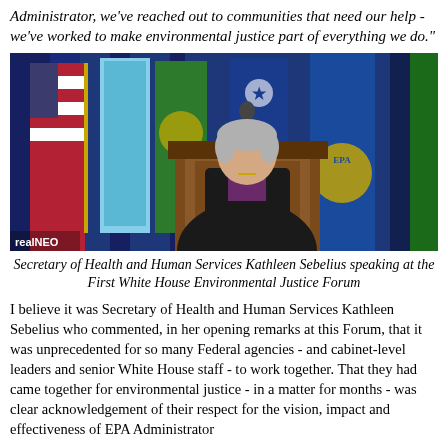Administrator, we've reached out to communities that need our help - we've worked to make environmental justice part of everything we do."
[Figure (photo): Secretary of Health and Human Services Kathleen Sebelius speaking at a podium in front of flags at the First White House Environmental Justice Forum. Watermark reads 'realNEO'.]
Secretary of Health and Human Services Kathleen Sebelius speaking at the First White House Environmental Justice Forum
I believe it was Secretary of Health and Human Services Kathleen Sebelius who commented, in her opening remarks at this Forum, that it was unprecedented for so many Federal agencies - and cabinet-level leaders and senior White House staff - to work together. That they had came together for environmental justice - in a matter for months - was clear acknowledgement of their respect for the vision, impact and effectiveness of EPA Administrator